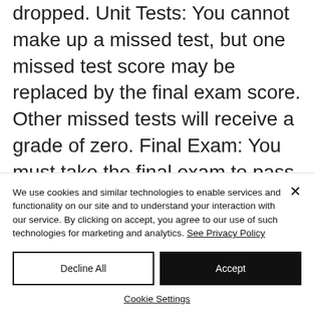dropped. Unit Tests: You cannot make up a missed test, but one missed test score may be replaced by the final exam score. Other missed tests will receive a grade of zero. Final Exam: You must take the final exam to pass this course. The final exam will be comprehensive and cannot be
We use cookies and similar technologies to enable services and functionality on our site and to understand your interaction with our service. By clicking on accept, you agree to our use of such technologies for marketing and analytics. See Privacy Policy
Decline All
Accept
Cookie Settings